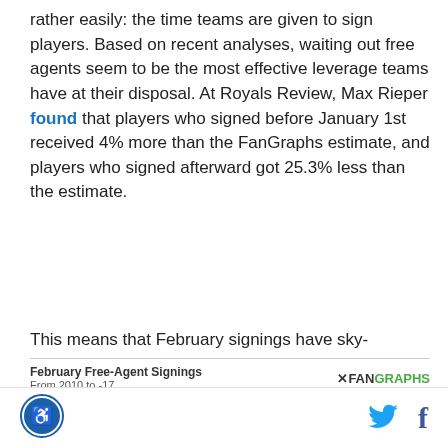rather easily: the time teams are given to sign players. Based on recent analyses, waiting out free agents seem to be the most effective leverage teams have at their disposal. At Royals Review, Max Rieper found that players who signed before January 1st received 4% more than the FanGraphs estimate, and players who signed afterward got 25.3% less than the estimate.
This means that February signings have sky-rocketed since 2014, as documented by Travis Sawchik:
[Figure (other): Partial view of a FanGraphs chart titled 'February Free-Agent Signings From 2010 to -17']
Footer with accessibility logo, Twitter icon, and Facebook icon